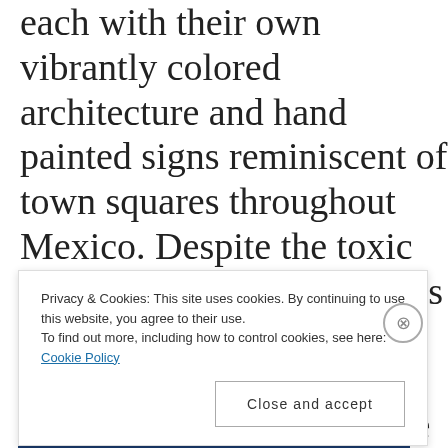each with their own vibrantly colored architecture and hand painted signs reminiscent of town squares throughout Mexico. Despite the toxic political climate for Latinos in the US, this neck of Detroit spells a renewed faith in cultural acceptance and a reinvigoration of the once prolific American dream for immigrants. There is hope in the story of
Privacy & Cookies: This site uses cookies. By continuing to use this website, you agree to their use.
To find out more, including how to control cookies, see here: Cookie Policy
Close and accept